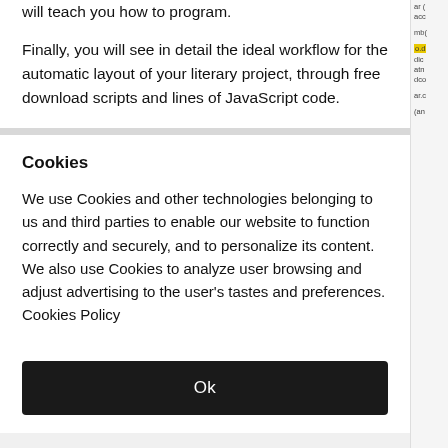will teach you how to program.
Finally, you will see in detail the ideal workflow for the automatic layout of your literary project, through free download scripts and lines of JavaScript code.
Cookies
We use Cookies and other technologies belonging to us and third parties to enable our website to function correctly and securely, and to personalize its content. We also use Cookies to analyze user browsing and adjust advertising to the user's tastes and preferences. Cookies Policy
Ok